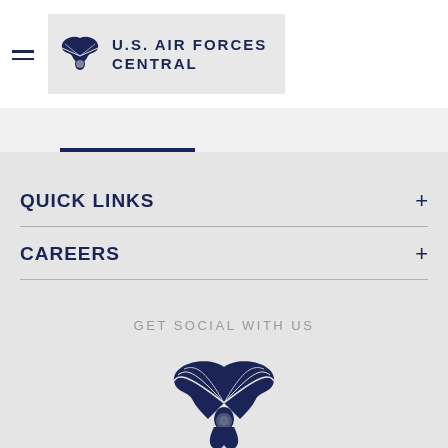U.S. AIR FORCES CENTRAL
QUICK LINKS
CAREERS
GET SOCIAL WITH US
[Figure (logo): U.S. Air Forces Central eagle wings logo (large, dark navy)]